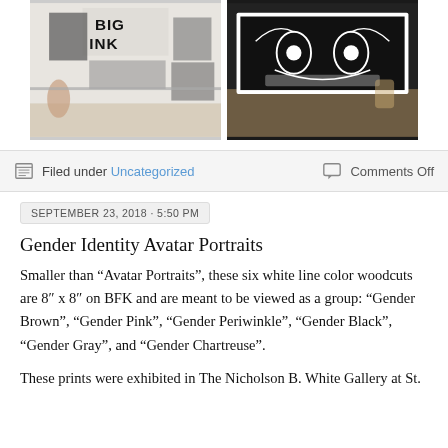[Figure (photo): Two photos side by side: left shows an art gallery wall with large black and white prints labeled 'BIG INK', right shows people viewing a large black and white woodcut print on a table.]
Filed under Uncategorized   Comments Off
SEPTEMBER 23, 2018 · 5:50 PM
Gender Identity Avatar Portraits
Smaller than “Avatar Portraits”, these six white line color woodcuts are 8″ x 8″ on BFK and are meant to be viewed as a group: “Gender Brown”, “Gender Pink”, “Gender Periwinkle”, “Gender Black”, “Gender Gray”, and “Gender Chartreuse”.
These prints were exhibited in The Nicholson B. White Gallery at St.